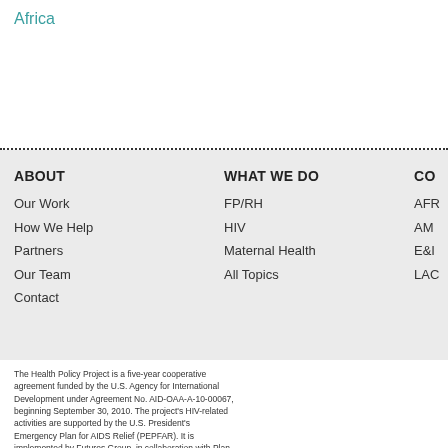Africa
ABOUT
Our Work
How We Help
Partners
Our Team
Contact
WHAT WE DO
FP/RH
HIV
Maternal Health
All Topics
CO
AFR
AM
E&I
LAC
The Health Policy Project is a five-year cooperative agreement funded by the U.S. Agency for International Development under Agreement No. AID-OAA-A-10-00067, beginning September 30, 2010. The project's HIV-related activities are supported by the U.S. President's Emergency Plan for AIDS Relief (PEPFAR). It is implemented by Futures Group, in collaboration with Plan International USA, Avenir Health (previously Futures Institute), Partners in Population and Development, Africa Regional Office (PPD ARO), Population Reference Bureau (PRB), RTI International, and White Ribbon Alliance for Safe Motherhood (WRA).
Copyright © 2011 Futures Group. All Rights Reserved.